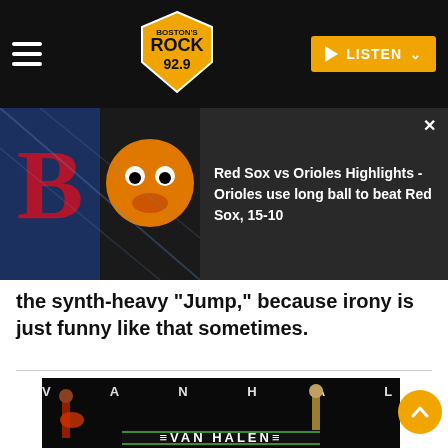Boston's Rock 92.9 — LISTEN
[Figure (screenshot): Red Sox vs Orioles notification overlay with team logos and text: Red Sox vs Orioles Highlights - Orioles use long ball to beat Red Sox, 15-10]
the synth-heavy 'Jump,' because irony is just funny like that sometimes.
[Figure (photo): Van Halen band photo showing two performers on stage with the Van Halen logo at the bottom]